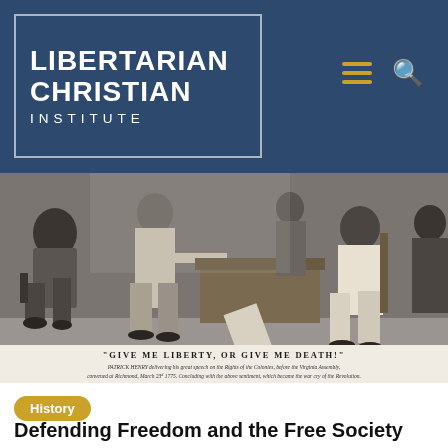Libertarian Christian Institute
[Figure (photo): Grayscale historical engraving of Patrick Henry delivering his speech on the Rights of the Colonies before the Virginia Assembly, convened at Richmond, March 23, 1775. Caption reads: 'Give me liberty, or give me death!' with subtitle about Patrick Henry delivering his great speech.]
"GIVE ME LIBERTY, OR GIVE ME DEATH!" PATRICK HENRY delivering his great speech on the Rights of the Colonies, before the Virginia Assembly, convened at Richmond, March 23d 1775. Concluding with the above sentiment, which became the war cry of the Revolution.
History
Defending Freedom and the Free Society